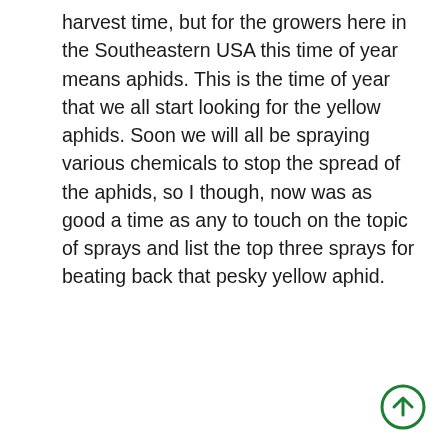harvest time, but for the growers here in the Southeastern USA this time of year means aphids. This is the time of year that we all start looking for the yellow aphids. Soon we will all be spraying various chemicals to stop the spread of the aphids, so I though, now was as good a time as any to touch on the topic of sprays and list the top three sprays for beating back that pesky yellow aphid.